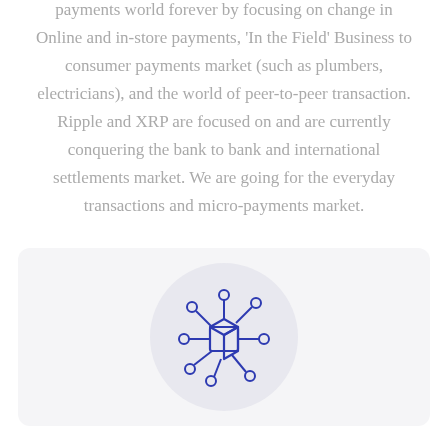payments world forever by focusing on change in Online and in-store payments, 'In the Field' Business to consumer payments market (such as plumbers, electricians), and the world of peer-to-peer transaction. Ripple and XRP are focused on and are currently conquering the bank to bank and international settlements market. We are going for the everyday transactions and micro-payments market.
[Figure (illustration): A blue network/blockchain icon with a central cube connected to multiple nodes arranged around it, displayed inside a light grey circle on a light grey card background.]